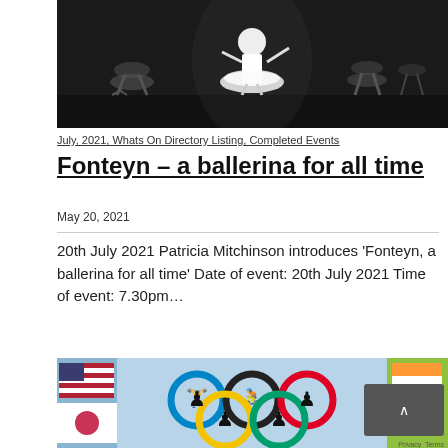[Figure (photo): Black and white photograph of ballet dancers performing on stage, with a principal ballerina in white tutu at center.]
July, 2021, Whats On Directory Listing, Completed Events
Fonteyn – a ballerina for all time
May 20, 2021
20th July 2021 Patricia Mitchinson introduces 'Fonteyn, a ballerina for all time' Date of event: 20th July 2021 Time of event: 7.30pm…
[Figure (photo): Colorful photograph of an Olympic rings artwork/sculpture with silhouette athletes inside each ring, with national flags visible in the background.]